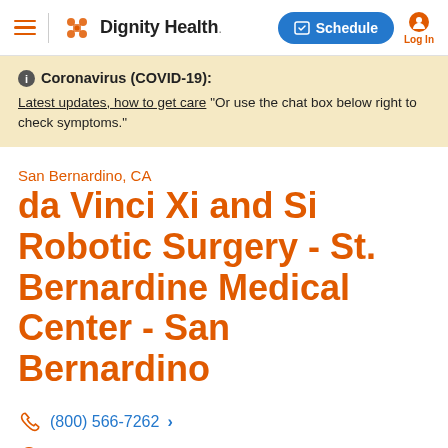Dignity Health — Schedule / Log In navigation header
Coronavirus (COVID-19): Latest updates, how to get care "Or use the chat box below right to check symptoms."
San Bernardino, CA
da Vinci Xi and Si Robotic Surgery - St. Bernardine Medical Center - San Bernardino
(800) 566-7262
Open 24 Hours